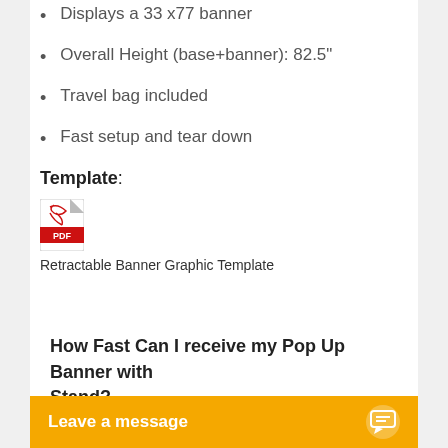Displays a 33 x77  banner
Overall Height (base+banner): 82.5"
Travel bag included
Fast setup and tear down
Template:
[Figure (other): PDF icon for Retractable Banner Graphic Template]
Retractable Banner Graphic Template
How Fast Can I receive my Pop Up Banner with Stand?
Leave a message